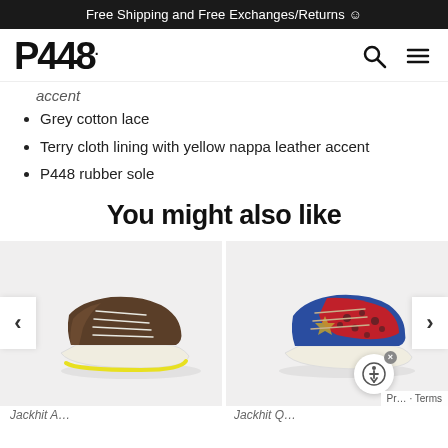Free Shipping and Free Exchanges/Returns ☺
[Figure (logo): P448 brand logo with search and hamburger menu icons]
accent
Grey cotton lace
Terry cloth lining with yellow nappa leather accent
P448 rubber sole
You might also like
[Figure (photo): Brown suede sneaker with yellow rubber sole and white laces on light grey background]
[Figure (photo): Colorful sneaker with blue, red leopard print and animal print details on light grey background]